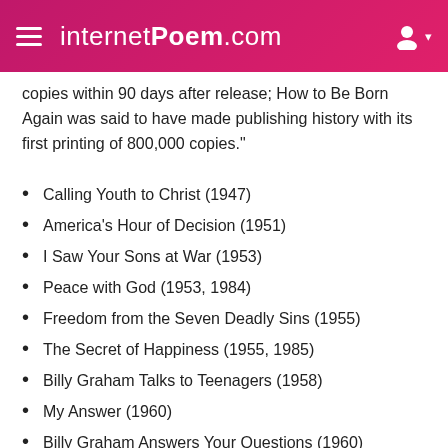internetPoem.com
copies within 90 days after release; How to Be Born Again was said to have made publishing history with its first printing of 800,000 copies."
Calling Youth to Christ (1947)
America's Hour of Decision (1951)
I Saw Your Sons at War (1953)
Peace with God (1953, 1984)
Freedom from the Seven Deadly Sins (1955)
The Secret of Happiness (1955, 1985)
Billy Graham Talks to Teenagers (1958)
My Answer (1960)
Billy Graham Answers Your Questions (1960)
World Aflame (1965)
The Challenge (1969)
The Jesus Generation (1971)